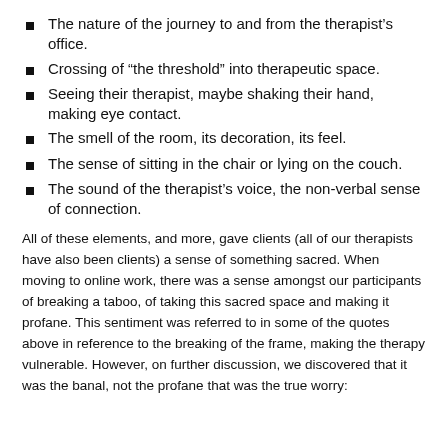The nature of the journey to and from the therapist’s office.
Crossing of “the threshold” into therapeutic space.
Seeing their therapist, maybe shaking their hand, making eye contact.
The smell of the room, its decoration, its feel.
The sense of sitting in the chair or lying on the couch.
The sound of the therapist’s voice, the non-verbal sense of connection.
All of these elements, and more, gave clients (all of our therapists have also been clients) a sense of something sacred. When moving to online work, there was a sense amongst our participants of breaking a taboo, of taking this sacred space and making it profane. This sentiment was referred to in some of the quotes above in reference to the breaking of the frame, making the therapy vulnerable. However, on further discussion, we discovered that it was the banal, not the profane that was the true worry: